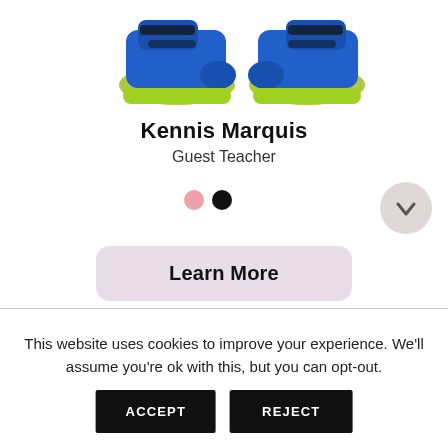[Figure (photo): Two blue and neon green high-top sneakers/shoes visible from below, cropped at the top of the page on a white background.]
Kennis Marquis
Guest Teacher
[Figure (other): Navigation carousel: pink dot and black dot indicators, and a circular grey down-arrow button on the right side.]
Learn More
This website uses cookies to improve your experience. We'll assume you're ok with this, but you can opt-out.
ACCEPT
REJECT